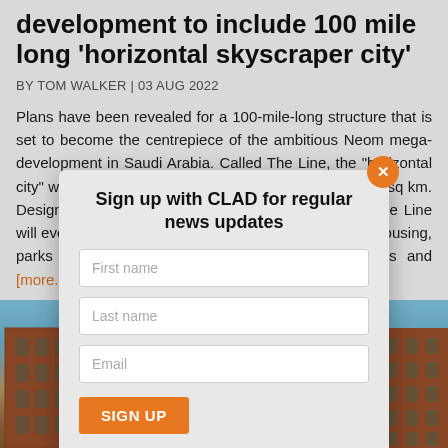development to include 100 mile long 'horizontal skyscraper city'
BY TOM WALKER | 03 AUG 2022
Plans have been revealed for a 100-mile-long structure that is set to become the centrepiece of the ambitious Neom mega-development in Saudi Arabia. Called The Line, the "horizontal city" will be 200m wide and built on a footprint of just 34sq km. Designed to run on 100 per cent renewable energy The Line will eventually accommodate nine million people, with housing, parks and public spaces, retail and leisure facilities and [more...]
[Figure (screenshot): Sign up with CLAD modal overlay with First name, Last name, Email fields and SIGN UP button]
[Figure (photo): Street-level photo of brick buildings against blue sky]